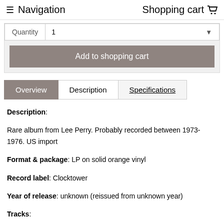≡ Navigation   Shopping cart 🛒
Quantity  1  ▼
Add to shopping cart
Overview  |  Description  |  Specifications
Description: Rare album from Lee Perry. Probably recorded between 1973-1976. US import
Format & package: LP on solid orange vinyl
Record label: Clocktower
Year of release: unknown (reissued from unknown year)
Tracks:
A1 Militant Man
A2 Longer Way
A3 Kung Fu Man
A4 What Can I Do